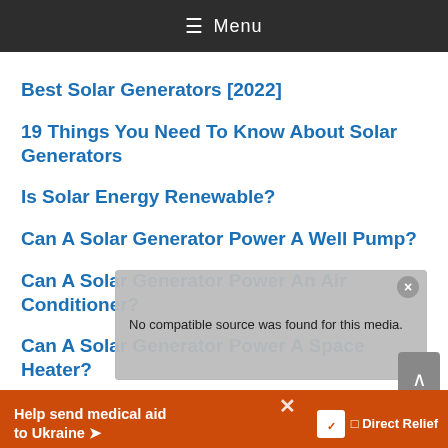≡ Menu
Best Solar Generators [2022]
19 Things You Need To Know About Solar Generators
Is Solar Energy Renewable?
Can A Solar Generator Power A Well Pump?
Can A Solar Generator Power An Air Conditioner?
Can A Solar Generator Power A Space Heater?
[Figure (screenshot): Video player overlay showing 'No compatible source was found for this media.' message with close button]
[Figure (infographic): Direct Relief ad banner: 'Help send medical aid to Ukraine' with Direct Relief logo on orange background]